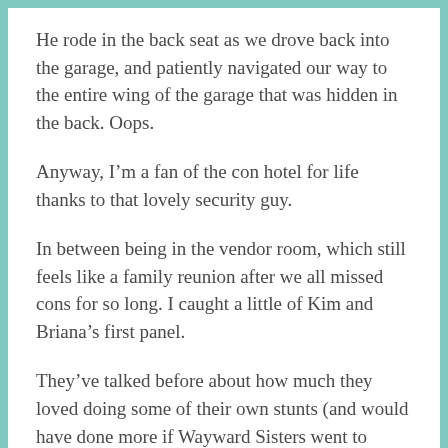He rode in the back seat as we drove back into the garage, and patiently navigated our way to the entire wing of the garage that was hidden in the back. Oops.
Anyway, I'm a fan of the con hotel for life thanks to that lovely security guy.
In between being in the vendor room, which still feels like a family reunion after we all missed cons for so long. I caught a little of Kim and Briana's first panel.
They've talked before about how much they loved doing some of their own stunts (and would have done more if Wayward Sisters went to series), but Briana also said that she didn't really know how to move for some stunts. She